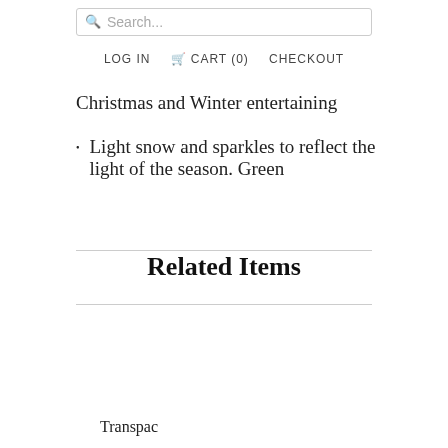Search...
LOG IN  CART (0)  CHECKOUT
Christmas and Winter entertaining
Light snow and sparkles to reflect the light of the season. Green
Related Items
Transpac